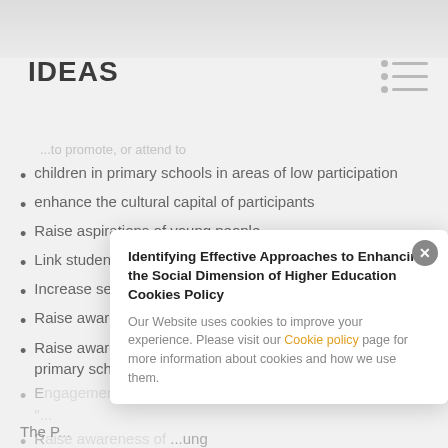IDEAS
children in primary schools in areas of low participation
enhance the cultural capital of participants
Raise aspirations of young people
Link students with local young people as role models
Increase self esteem
Raise awareness of the concept of choice
Raise awareness of further and higher education at primary school level
E... w... "...
R... ...ung p...
[Figure (screenshot): Cookie policy modal dialog overlay with title 'Identifying Effective Approaches to Enhancing the Social Dimension of Higher Education Cookies Policy', close button, and text about website cookies usage with a link to Cookie policy page.]
The P...